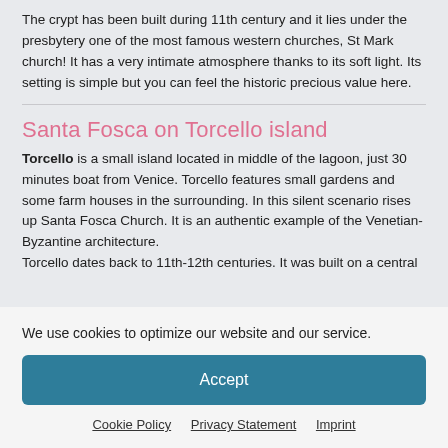The crypt has been built during 11th century and it lies under the presbytery one of the most famous western churches, St Mark church! It has a very intimate atmosphere thanks to its soft light. Its setting is simple but you can feel the historic precious value here.
Santa Fosca on Torcello island
Torcello is a small island located in middle of the lagoon, just 30 minutes boat from Venice. Torcello features small gardens and some farm houses in the surrounding. In this silent scenario rises up Santa Fosca Church. It is an authentic example of the Venetian-Byzantine architecture.
Torcello dates back to 11th-12th centuries. It was built on a central
We use cookies to optimize our website and our service.
Accept
Cookie Policy   Privacy Statement   Imprint